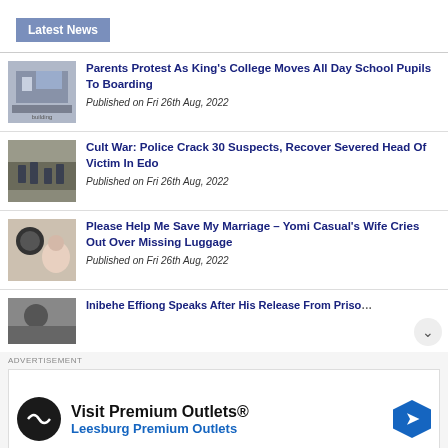Latest News
Parents Protest As King's College Moves All Day School Pupils To Boarding
Published on Fri 26th Aug, 2022
Cult War: Police Crack 30 Suspects, Recover Severed Head Of Victim In Edo
Published on Fri 26th Aug, 2022
Please Help Me Save My Marriage – Yomi Casual's Wife Cries Out Over Missing Luggage
Published on Fri 26th Aug, 2022
Inibehe Effiong Speaks After His Release From Prison
ADVERTISEMENT
[Figure (infographic): Advertisement for Visit Premium Outlets® Leesburg Premium Outlets with logo and navigation icon]